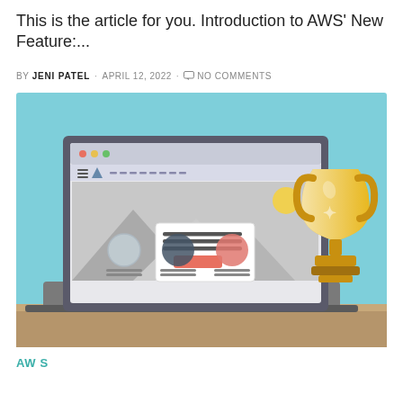This is the article for you. Introduction to AWS' New Feature:...
BY JENI PATEL · APRIL 12, 2022 · NO COMMENTS
[Figure (illustration): Illustration of a laptop computer showing a webpage mockup with mountain scene, cards with text and a salmon button, and three circular icons below. Beside the laptop stands a gold trophy cup on a wooden surface. Background is light blue.]
AWS